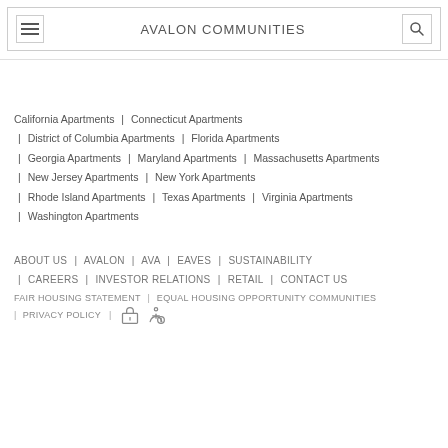AVALON COMMUNITIES
California Apartments | Connecticut Apartments | District of Columbia Apartments | Florida Apartments | Georgia Apartments | Maryland Apartments | Massachusetts Apartments | New Jersey Apartments | New York Apartments | Rhode Island Apartments | Texas Apartments | Virginia Apartments | Washington Apartments
ABOUT US | AVALON | AVA | EAVES | SUSTAINABILITY | CAREERS | INVESTOR RELATIONS | RETAIL | CONTACT US
FAIR HOUSING STATEMENT | EQUAL HOUSING OPPORTUNITY COMMUNITIES
| PRIVACY POLICY |